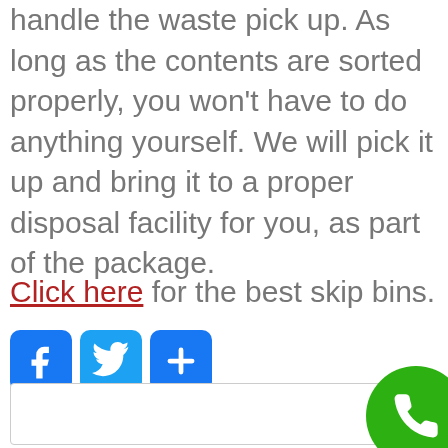handle the waste pick up. As long as the contents are sorted properly, you won't have to do anything yourself. We will pick it up and bring it to a proper disposal facility for you, as part of the package.
Click here for the best skip bins.
[Figure (other): Social media sharing buttons: Facebook (blue), Twitter (blue), Share (blue with plus icon)]
[Figure (other): Search input bar at the bottom of the page with a green phone button in the bottom right corner]